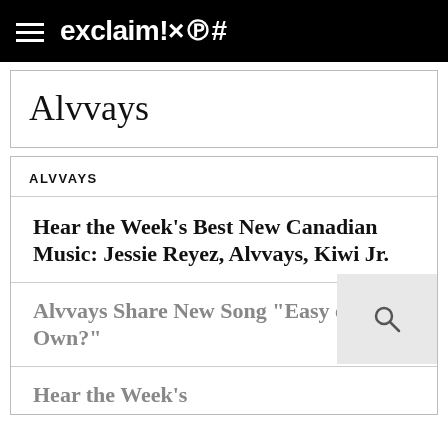exclaim!×℗#
Alvvays
ALVVAYS
Hear the Week's Best New Canadian Music: Jessie Reyez, Alvvays, Kiwi Jr.
Alvvays Share New Song "Easy on Your Own?"
Hear the Week's